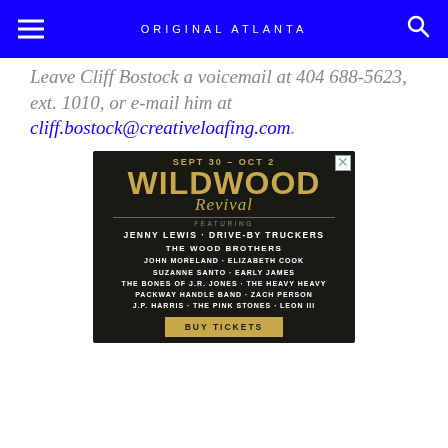ORIGINAL ATLANTA
Leave Cliff Bostock a voicemail at 404 688-5623, ext. 1010, or e-mail him at cliff.bostock@creativeloafing.com.
[Figure (illustration): Advertisement for Wildwood Revival music festival. Sept 30 - Oct 2. Featuring: Jenny Lewis, Drive-By Truckers, The Wood Brothers, John Moreland, Elizabeth Cook, Suzanne Santo, Early James, The Bones of J.R. Jones, The Heavy Heavy, Packway Handle Band, Zach Person, J.P. Harris, The Pink Stones, Leon III. Buy Tickets button.]